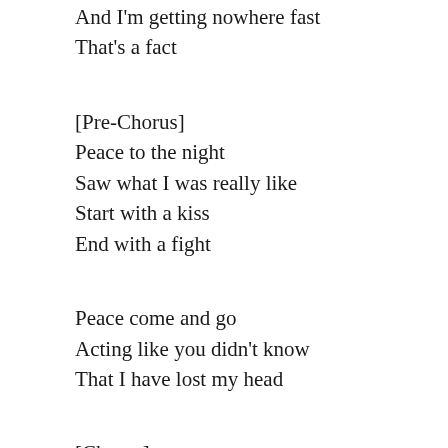And I'm getting nowhere fast
That's a fact
[Pre-Chorus]
Peace to the night
Saw what I was really like
Start with a kiss
End with a fight
Peace come and go
Acting like you didn't know
That I have lost my head
[Chorus]
Oooooooh
Oooooooh